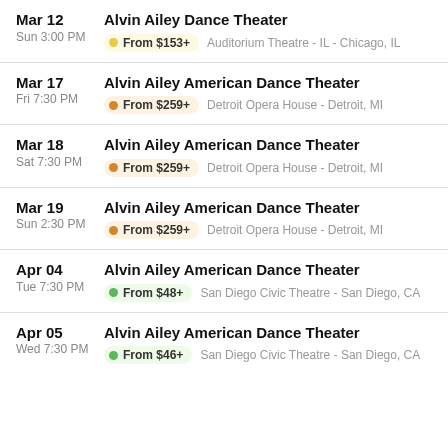Mar 12 | Sun 3:00 PM | Alvin Ailey Dance Theater | From $153+ | Auditorium Theatre - IL - Chicago, IL
Mar 17 | Fri 7:30 PM | Alvin Ailey American Dance Theater | From $259+ | Detroit Opera House - Detroit, MI
Mar 18 | Sat 7:30 PM | Alvin Ailey American Dance Theater | From $259+ | Detroit Opera House - Detroit, MI
Mar 19 | Sun 2:30 PM | Alvin Ailey American Dance Theater | From $259+ | Detroit Opera House - Detroit, MI
Apr 04 | Tue 7:30 PM | Alvin Ailey American Dance Theater | From $48+ | San Diego Civic Theatre - San Diego, CA
Apr 05 | Wed 7:30 PM | Alvin Ailey American Dance Theater | From $46+ | San Diego Civic Theatre - San Diego, CA